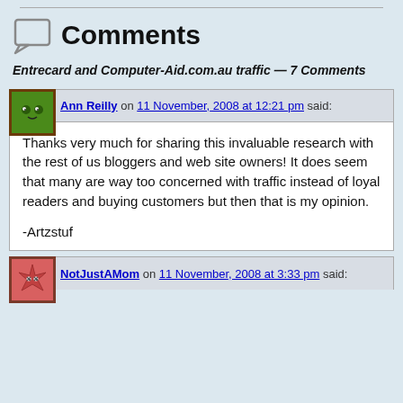Comments
Entrecard and Computer-Aid.com.au traffic — 7 Comments
Ann Reilly on 11 November, 2008 at 12:21 pm said:
Thanks very much for sharing this invaluable research with the rest of us bloggers and web site owners! It does seem that many are way too concerned with traffic instead of loyal readers and buying customers but then that is my opinion.

-Artzstuf
NotJustAMom on 11 November, 2008 at 3:33 pm said: